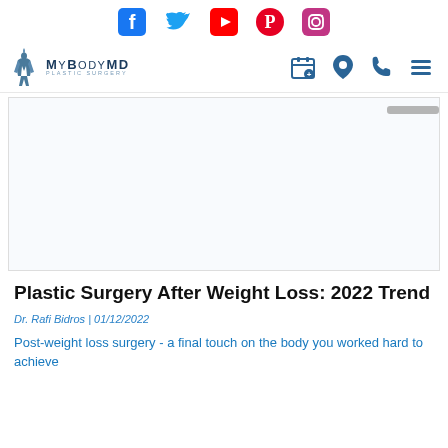[Figure (screenshot): Social media icons bar: Facebook (blue), Twitter (blue), YouTube (red), Pinterest (red/pink), Instagram (pink)]
[Figure (logo): MyBodyMD Plastic Surgery logo with stylized figure on left and text]
[Figure (screenshot): Navigation icons: calendar/appointment, location pin, phone, hamburger menu - all in dark blue]
[Figure (photo): Large image area (mostly white/blank) with scroll indicator bar in top right corner]
Plastic Surgery After Weight Loss: 2022 Trend
Dr. Rafi Bidros | 01/12/2022
Post-weight loss surgery - a final touch on the body you worked hard to achieve